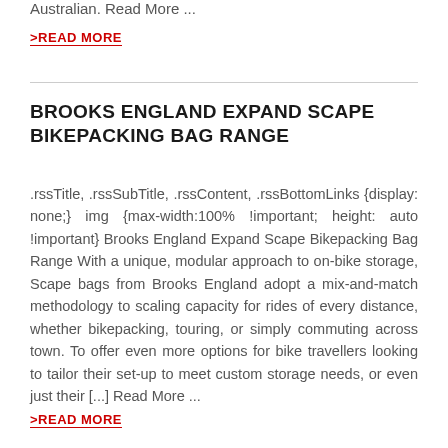Australian. Read More ...
>READ MORE
BROOKS ENGLAND EXPAND SCAPE BIKEPACKING BAG RANGE
.rssTitle, .rssSubTitle, .rssContent, .rssBottomLinks {display: none;} img {max-width:100% !important; height: auto !important} Brooks England Expand Scape Bikepacking Bag Range With a unique, modular approach to on-bike storage, Scape bags from Brooks England adopt a mix-and-match methodology to scaling capacity for rides of every distance, whether bikepacking, touring, or simply commuting across town. To offer even more options for bike travellers looking to tailor their set-up to meet custom storage needs, or even just their [...] Read More ...
>READ MORE